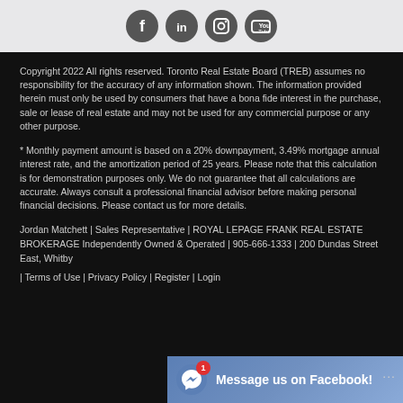[Figure (illustration): Social media icons: Facebook, LinkedIn, Instagram, YouTube on light gray background]
Copyright 2022 All rights reserved. Toronto Real Estate Board (TREB) assumes no responsibility for the accuracy of any information shown. The information provided herein must only be used by consumers that have a bona fide interest in the purchase, sale or lease of real estate and may not be used for any commercial purpose or any other purpose.
* Monthly payment amount is based on a 20% downpayment, 3.49% mortgage annual interest rate, and the amortization period of 25 years. Please note that this calculation is for demonstration purposes only. We do not guarantee that all calculations are accurate. Always consult a professional financial advisor before making personal financial decisions. Please contact us for more details.
Jordan Matchett | Sales Representative | ROYAL LEPAGE FRANK REAL ESTATE BROKERAGE Independently Owned & Operated | 905-666-1333 | 200 Dundas Street East, Whitby
| Terms of Use | Privacy Policy | Register | Login
[Figure (screenshot): Facebook Messenger chat widget: blue button with messenger icon, red badge showing 1 unread message, text 'Message us on Facebook!']